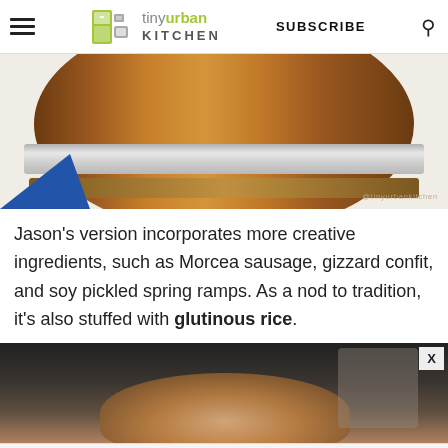tiny urban KITCHEN | SUBSCRIBE
[Figure (photo): Close-up photo of the bottom of a wooden barrel with a silver metal band, sitting on a light surface. Blue fabric visible at lower left. Watermark reads @tinyurbankitchen.]
Jason's version incorporates more creative ingredients, such as Morcea sausage, gizzard confit, and soy pickled spring ramps. As a nod to tradition, it's also stuffed with glutinous rice.
[Figure (photo): Photo showing hands holding raw chicken or meat, dark blurred background with kitchen equipment.]
Fuel Your Summer Fun With A Delicious Angel Food Smoothie